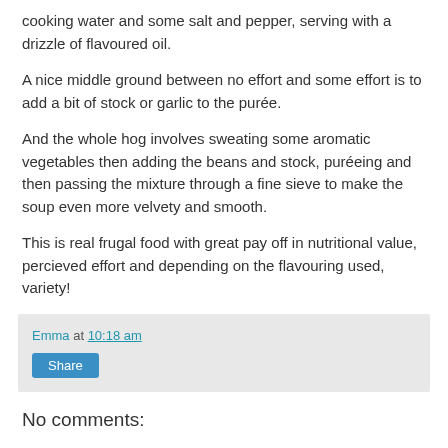cooking water and some salt and pepper, serving with a drizzle of flavoured oil.
A nice middle ground between no effort and some effort is to add a bit of stock or garlic to the purée.
And the whole hog involves sweating some aromatic vegetables then adding the beans and stock, puréeing and then passing the mixture through a fine sieve to make the soup even more velvety and smooth.
This is real frugal food with great pay off in nutritional value, percieved effort and depending on the flavouring used, variety!
Emma at 10:18 am
Share
No comments: